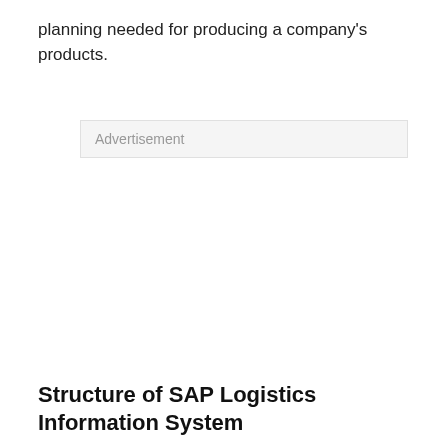planning needed for producing a company's products.
[Figure (other): Advertisement placeholder box with light gray background and 'Advertisement' label text]
Structure of SAP Logistics Information System